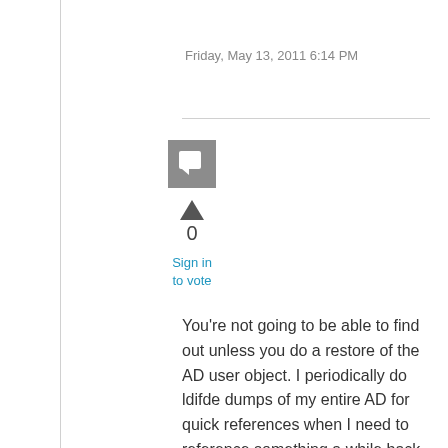Friday, May 13, 2011 6:14 PM
[Figure (illustration): Gray square avatar icon with a speech bubble symbol]
▲
0
Sign in to vote
You're not going to be able to find out unless you do a restore of the AD user object. I periodically do ldifde dumps of my entire AD for quick references when I need to reference something a while back such like these. I've also had old move mailbox logs that I've